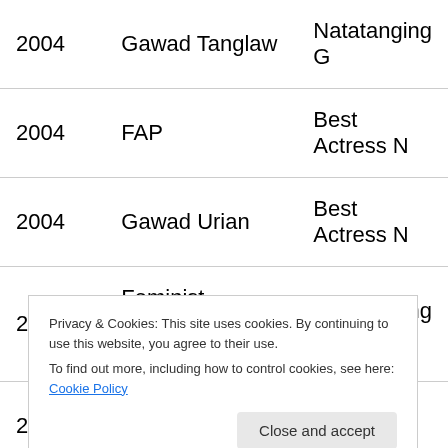| Year | Organization | Award |
| --- | --- | --- |
| 2004 | Gawad Tanglaw | Natatanging G… |
| 2004 | FAP | Best Actress N… |
| 2004 | Gawad Urian | Best Actress N… |
| 2005 | Feminist Centennial Filmfest | Outstanding Ac… |
| 2005 | Gawad Plaridel | utstanding Ach… |
| 2005 | GMMSF | All-Time Favor… |
| 2005 | Gawad Suri | Exemplary Filn… |
Privacy & Cookies: This site uses cookies. By continuing to use this website, you agree to their use.
To find out more, including how to control cookies, see here: Cookie Policy